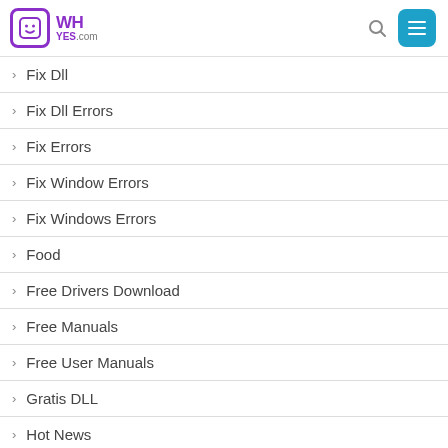WHyes.com
Fix Dll
Fix Dll Errors
Fix Errors
Fix Window Errors
Fix Windows Errors
Food
Free Drivers Download
Free Manuals
Free User Manuals
Gratis DLL
Hot News